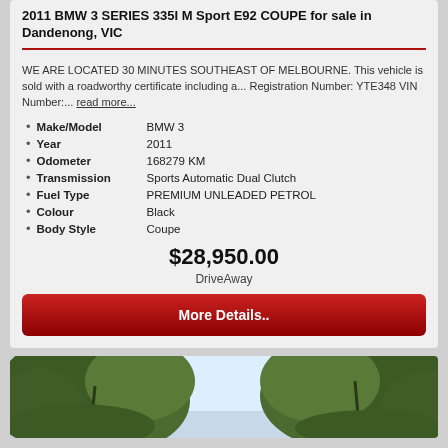2011 BMW 3 SERIES 335I M Sport E92 COUPE for sale in Dandenong, VIC
WE ARE LOCATED 30 MINUTES SOUTHEAST OF MELBOURNE. This vehicle is sold with a roadworthy certificate including a... Registration Number: YTE348 VIN Number:... read more...
Make/Model   BMW 3
Year   2011
Odometer   168279 KM
Transmission   Sports Automatic Dual Clutch
Fuel Type   PREMIUM UNLEADED PETROL
Colour   Black
Body Style   Coupe
$28,950.00
DriveAway
More Details..
[Figure (photo): Outdoor photo showing trees with green foliage against a bright sky]